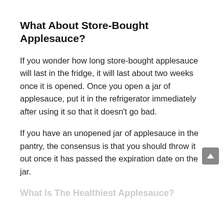What About Store-Bought Applesauce?
If you wonder how long store-bought applesauce will last in the fridge, it will last about two weeks once it is opened. Once you open a jar of applesauce, put it in the refrigerator immediately after using it so that it doesn't go bad.
If you have an unopened jar of applesauce in the pantry, the consensus is that you should throw it out once it has passed the expiration date on the jar.
What Is The Healthiest Applesauce?